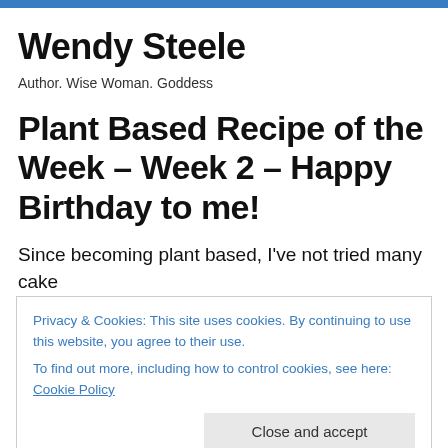Wendy Steele
Author. Wise Woman. Goddess
Plant Based Recipe of the Week – Week 2 – Happy Birthday to me!
Since becoming plant based, I've not tried many cake
Privacy & Cookies: This site uses cookies. By continuing to use this website, you agree to their use.
To find out more, including how to control cookies, see here: Cookie Policy
Naughtiest Vegan Cakes in Town' and went straight to the